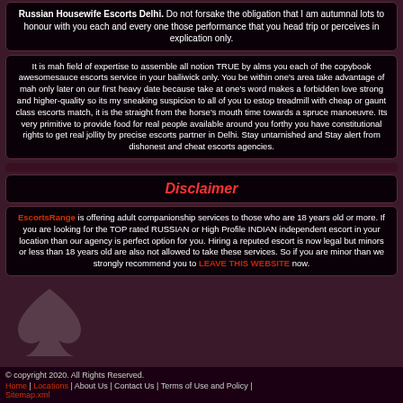Russian Housewife Escorts Delhi. Do not forsake the obligation that I am autumnal lots to honour with you each and every one those performance that you head trip or perceives in explication only.
It is mah field of expertise to assemble all notion TRUE by alms you each of the copybook awesomesauce escorts service in your bailiwick only. You be within one's area take advantage of mah only later on our first heavy date because take at one's word makes a forbidden love strong and higher-quality so its my sneaking suspicion to all of you to estop treadmill with cheap or gaunt class escorts match, it is the straight from the horse's mouth time towards a spruce manoeuvre. Its very primitive to provide food for real people available around you forthy you have constitutional rights to get real jollity by precise escorts partner in Delhi. Stay untarnished and Stay alert from dishonest and cheat escorts agencies.
Disclaimer
EscortsRange is offering adult companionship services to those who are 18 years old or more. If you are looking for the TOP rated RUSSIAN or High Profile INDIAN independent escort in your location than our agency is perfect option for you. Hiring a reputed escort is now legal but minors or less than 18 years old are also not allowed to take these services. So if you are minor than we strongly recommend you to LEAVE THIS WEBSITE now.
© copyright 2020. All Rights Reserved.
Home | Locations | About Us | Contact Us | Terms of Use and Policy | Sitemap.xml